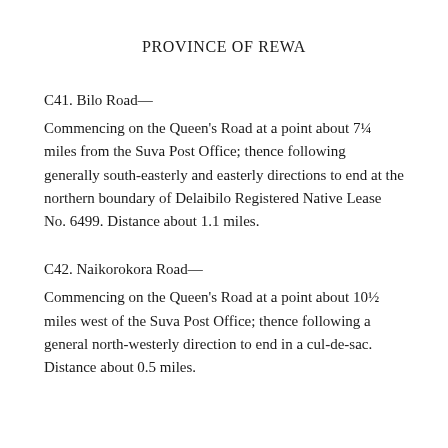PROVINCE OF REWA
C41. Bilo Road—
Commencing on the Queen's Road at a point about 7¼ miles from the Suva Post Office; thence following generally south-easterly and easterly directions to end at the northern boundary of Delaibilo Registered Native Lease No. 6499. Distance about 1.1 miles.
C42. Naikorokora Road—
Commencing on the Queen's Road at a point about 10½ miles west of the Suva Post Office; thence following a general north-westerly direction to end in a cul-de-sac. Distance about 0.5 miles.